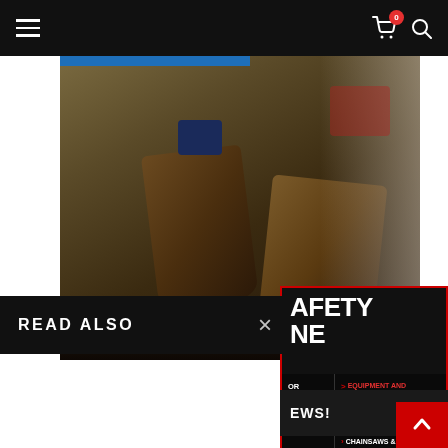Navigation bar with hamburger menu, cart icon (0 items), and search icon
[Figure (photo): Close-up photo of worker boots on dirt/rubble construction site with dust and debris]
READ ALSO
[Figure (screenshot): Safety magazine advertisement overlay showing title with SAFETY and NE text, equipment and product reviews menu items: MINI EXCAVATORS, MOWING EQUIPMENT, CHAINSAWS & PRUNING]
EWS!
Back to top button